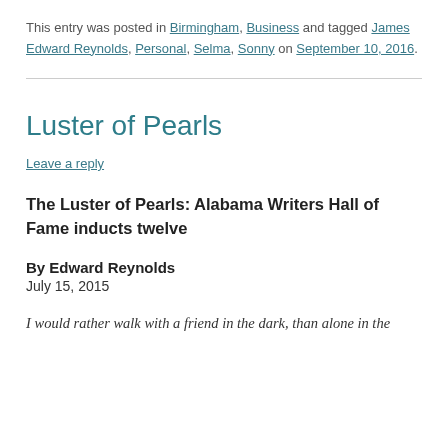This entry was posted in Birmingham, Business and tagged James Edward Reynolds, Personal, Selma, Sonny on September 10, 2016.
Luster of Pearls
Leave a reply
The Luster of Pearls: Alabama Writers Hall of Fame inducts twelve
By Edward Reynolds
July 15, 2015
I would rather walk with a friend in the dark, than alone in the